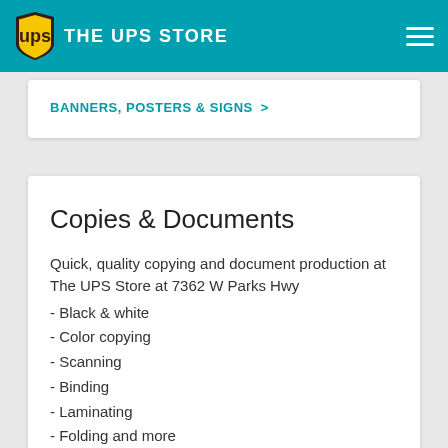THE UPS STORE
BANNERS, POSTERS & SIGNS >
Copies & Documents
Quick, quality copying and document production at The UPS Store at 7362 W Parks Hwy
- Black & white
- Color copying
- Scanning
- Binding
- Laminating
- Folding and more
COPIES & DOCUMENTS >